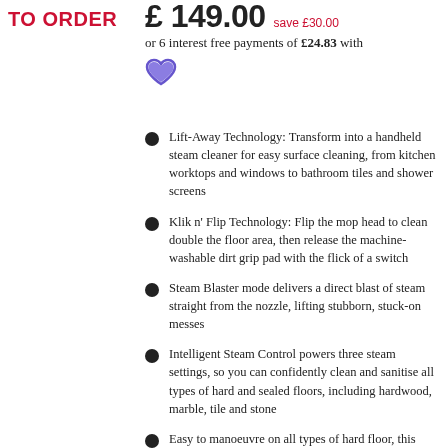TO ORDER
£ 149.00  save £30.00
or 6 interest free payments of £24.83 with
Lift-Away Technology: Transform into a handheld steam cleaner for easy surface cleaning, from kitchen worktops and windows to bathroom tiles and shower screens
Klik n' Flip Technology: Flip the mop head to clean double the floor area, then release the machine-washable dirt grip pad with the flick of a switch
Steam Blaster mode delivers a direct blast of steam straight from the nozzle, lifting stubborn, stuck-on messes
Intelligent Steam Control powers three steam settings, so you can confidently clean and sanitise all types of hard and sealed floors, including hardwood, marble, tile and stone
Easy to manoeuvre on all types of hard floor, this lightweight floor cleaner is enhanced with swivel steering to help navigate around furniture